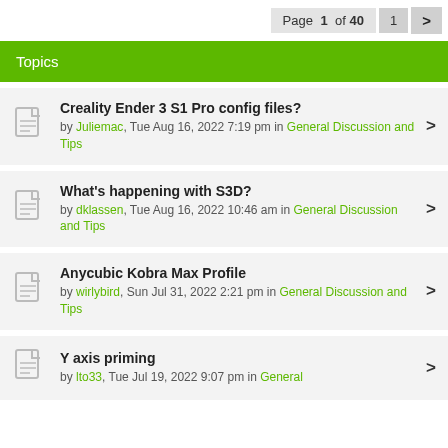Page 1 of 40  1  >
Topics
Creality Ender 3 S1 Pro config files? by Juliemac, Tue Aug 16, 2022 7:19 pm in General Discussion and Tips
What's happening with S3D? by dklassen, Tue Aug 16, 2022 10:46 am in General Discussion and Tips
Anycubic Kobra Max Profile by wirlybird, Sun Jul 31, 2022 2:21 pm in General Discussion and Tips
Y axis priming by lto33, Tue Jul 19, 2022 9:07 pm in General